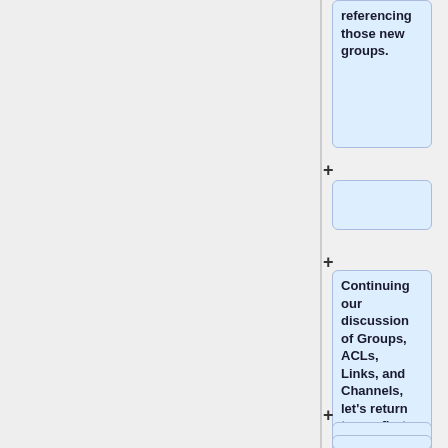referencing those new groups.
Continuing our discussion of Groups, ACLs, Links, and Channels, let's return to our first little Channel Hierarchy diagram:
Team1